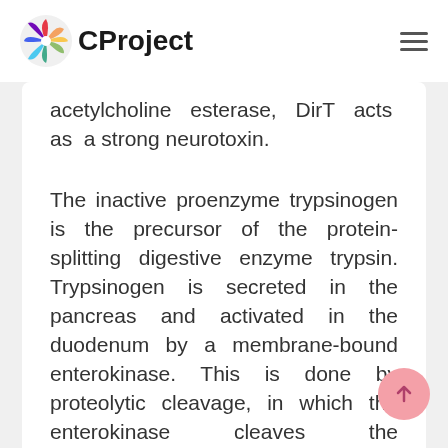CProject
acetylcholine esterase, DirT acts as a strong neurotoxin.
The inactive proenzyme trypsinogen is the precursor of the protein-splitting digestive enzyme trypsin. Trypsinogen is secreted in the pancreas and activated in the duodenum by a membrane-bound enterokinase. This is done by proteolytic cleavage, in which the enterokinase cleaves the hexapeptide (Val-Asp-Asp-Asp-Asp-Lys) from the inactive enzyme precursor trypsinogen. The protein-splitting enzyme trypsin is in turn involved in digestive processes by catalyzing the proteolytic cleavage of trypsinogen into